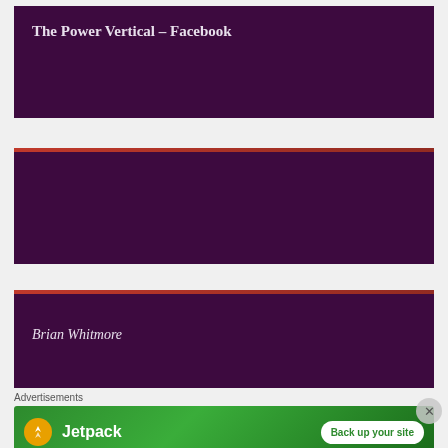The Power Vertical – Facebook
[Figure (other): Dark purple card with no visible text content]
Brian Whitmore
Advertisements
[Figure (other): Jetpack advertisement banner with 'Back up your site' button on green background]